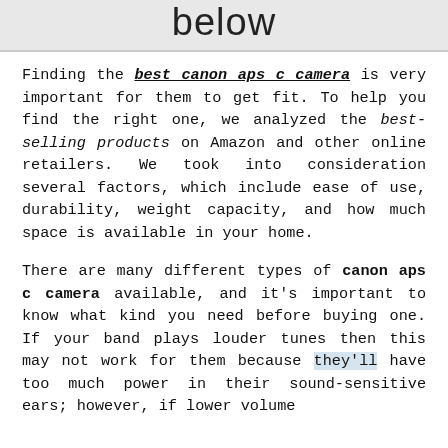below
Finding the best canon aps c camera is very important for them to get fit. To help you find the right one, we analyzed the best-selling products on Amazon and other online retailers. We took into consideration several factors, which include ease of use, durability, weight capacity, and how much space is available in your home.
There are many different types of canon aps c camera available, and it's important to know what kind you need before buying one. If your band plays louder tunes then this may not work for them because they'll have too much power in their sound-sensitive ears; however, if lower volume